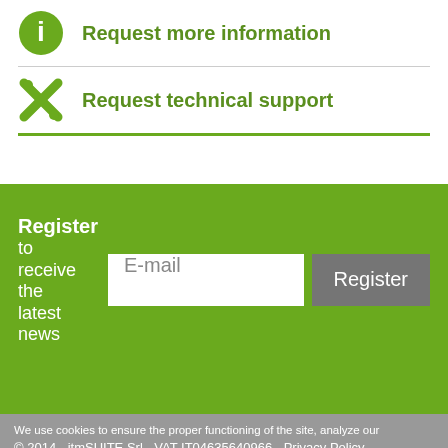Request more information
Request technical support
Register to receive the latest news
© 2014 - itmSUITE Srl - VAT IT04635640966 - Privacy Policy - Cookies Policy - Powered by SuperDesign.IT
We use cookies to ensure the proper functioning of the site, analyze our traffic and, where applicable, provide advanced features. Cookies are ENABLED, however cookies are DISABLED. You can choose whether to accept the use of functional cookies or deactivate them.